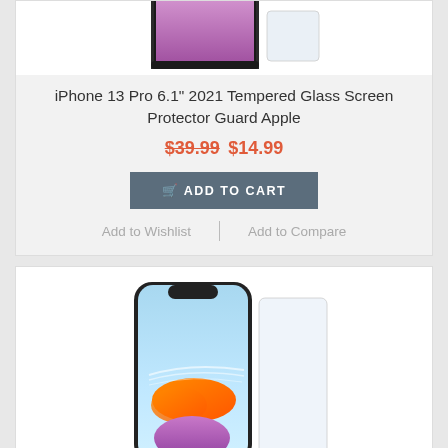[Figure (photo): Bottom portion of iPhone 13 Pro with purple/pink screen visible, with a tempered glass screen protector beside it]
iPhone 13 Pro 6.1" 2021 Tempered Glass Screen Protector Guard Apple
$39.99 $14.99
ADD TO CART
Add to Wishlist | Add to Compare
[Figure (photo): iPhone 13 mini showing colorful iOS wallpaper with orange and purple shapes, with a tempered glass screen protector beside it]
iPhone 13 mini 5.4" 2021 Tempered Glass Screen Protector Guard Apple